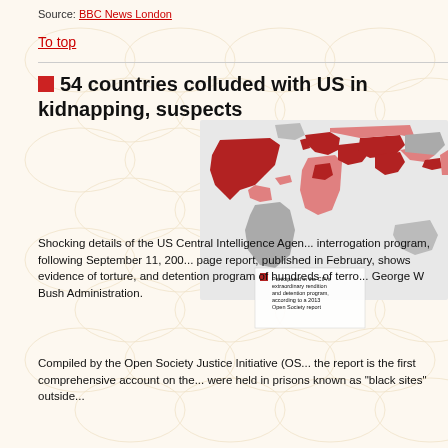Source: BBC News London
To top
54 countries colluded with US in kidnapping, suspects
[Figure (map): World map showing countries that participated in the CIA's extraordinary rendition and detention program, according to a 2013 Open Society report. Countries shown in dark red/pink shading across North America, Europe, Middle East, and Asia. Legend reads: Participated in the CIA's extraordinary rendition and detention program, according to a 2013 Open Society report.]
Shocking details of the US Central Intelligence Agency (CIA) interrogation program, following September 11, 2000... page report, published in February, shows evidence of torture, and detention program of hundreds of terror suspects during the George W Bush Administration.
Compiled by the Open Society Justice Initiative (OS... the report is the first comprehensive account on the... were held in prisons known as "black sites" outside...